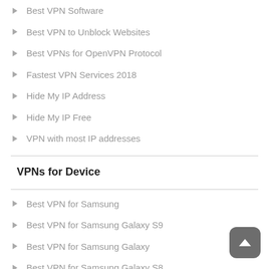Best VPN Software
Best VPN to Unblock Websites
Best VPNs for OpenVPN Protocol
Fastest VPN Services 2018
Hide My IP Address
Hide My IP Free
VPN with most IP addresses
VPNs for Device
Best VPN for Samsung
Best VPN for Samsung Galaxy S9
Best VPN for Samsung Galaxy
Best VPN for Samsung Galaxy S8
Best VPN for Samsung S9